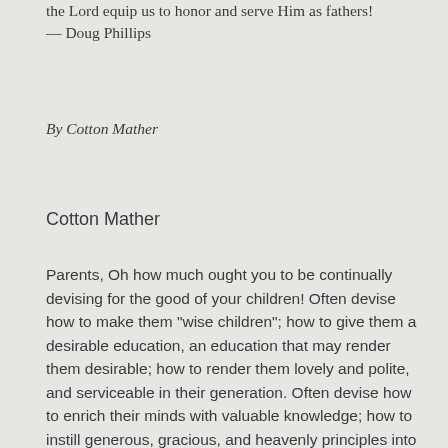the Lord equip us to honor and serve Him as fathers! — Doug Phillips
By Cotton Mather
Cotton Mather
Parents, Oh how much ought you to be continually devising for the good of your children! Often devise how to make them "wise children"; how to give them a desirable education, an education that may render them desirable; how to render them lovely and polite, and serviceable in their generation. Often devise how to enrich their minds with valuable knowledge; how to instill generous, gracious, and heavenly principles into